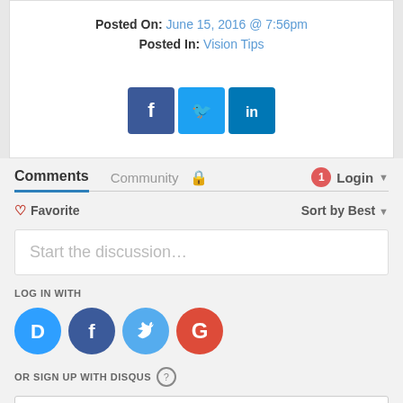Posted On: June 15, 2016 @ 7:56pm
Posted In: Vision Tips
[Figure (infographic): Social share buttons: Facebook (blue), Twitter (light blue), LinkedIn (blue)]
Comments | Community | Login
Favorite | Sort by Best
Start the discussion…
LOG IN WITH
[Figure (infographic): Login icons: Disqus (blue circle D), Facebook (dark blue circle f), Twitter (light blue circle bird), Google (red circle G)]
OR SIGN UP WITH DISQUS ?
Name